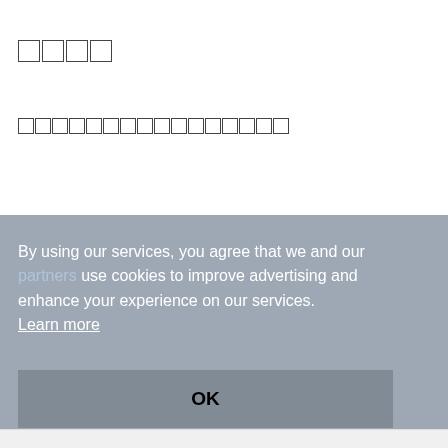████
████████████████
By using our services, you agree that we and our partners use cookies to improve advertising and enhance your experience on our services.  Learn more
OK